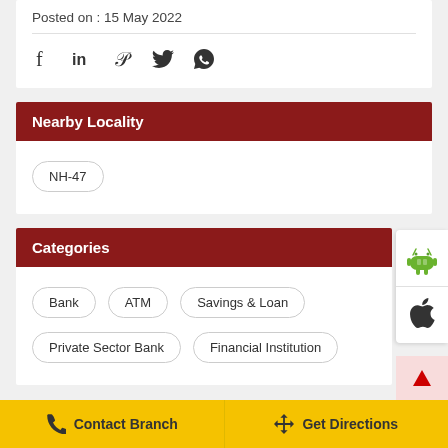Posted on : 15 May 2022
[Figure (infographic): Social media share icons: Facebook, LinkedIn, Pinterest, Twitter, WhatsApp]
Nearby Locality
NH-47
Categories
Bank
ATM
Savings & Loan
Private Sector Bank
Financial Institution
[Figure (logo): Android app icon (green robot)]
[Figure (logo): Apple app icon (apple logo)]
Contact Branch
Get Directions